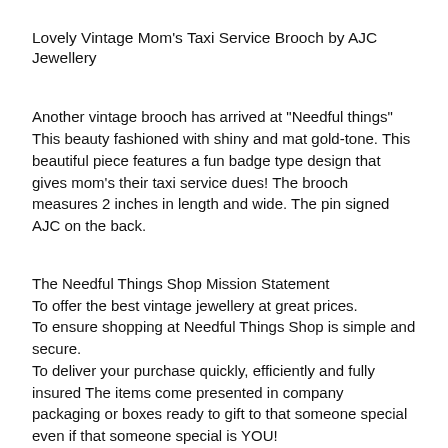Lovely Vintage Mom's Taxi Service Brooch by AJC Jewellery
Another vintage brooch has arrived at "Needful things" This beauty fashioned with shiny and mat gold-tone. This beautiful piece features a fun badge type design that gives mom's their taxi service dues! The brooch measures 2 inches in length and wide. The pin signed AJC on the back.
The Needful Things Shop Mission Statement
To offer the best vintage jewellery at great prices.
To ensure shopping at Needful Things Shop is simple and secure.
To deliver your purchase quickly, efficiently and fully insured The items come presented in company packaging or boxes ready to gift to that someone special even if that someone special is YOU!